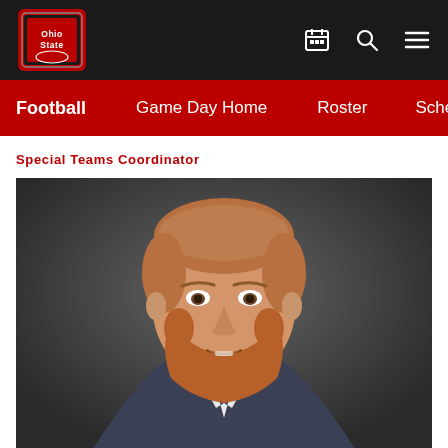Ohio State Football - Navigation
Football | Game Day Home | Roster | Schedule
Special Teams Coordinator
[Figure (photo): Headshot portrait of the Special Teams Coordinator, a man with short reddish hair and a reddish beard, wearing a suit jacket with white shirt, photographed against a dark gray background.]